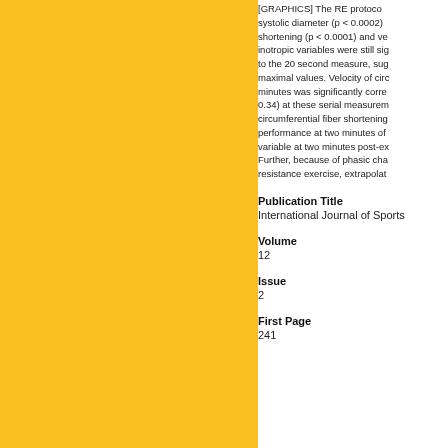[Figure (other): Gold/yellow colored panel occupying the left portion of the page]
[GRAPHICS] The RE protocol systolic diameter (p < 0.0002) shortening (p < 0.0001) and ve inotropic variables were still sig to the 20 second measure, sug maximal values. Velocity of circ minutes was significantly corre 0.34) at these serial measurem circumferential fiber shortening performance at two minutes of variable at two minutes post-ex Further, because of phasic cha resistance exercise, extrapolat
Publication Title
International Journal of Sports
Volume
12
Issue
2
First Page
241